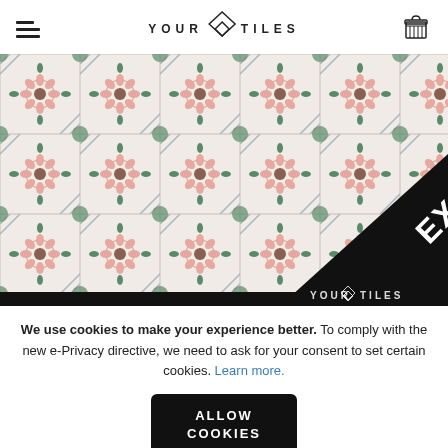YOUR TILES (logo with hamburger menu and cart icon)
[Figure (photo): Decorative floral tile pattern in pink, green, and grey with an 'EXCLUSIVE' banner in the bottom-right corner and 'YOUR TILES' logo watermark]
We use cookies to make your experience better. To comply with the new e-Privacy directive, we need to ask for your consent to set certain cookies. Learn more.
ALLOW COOKIES